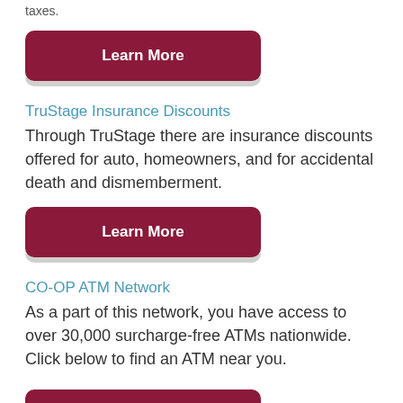taxes.
[Figure (other): Dark red 'Learn More' button with shadow]
TruStage Insurance Discounts
Through TruStage there are insurance discounts offered for auto, homeowners, and for accidental death and dismemberment.
[Figure (other): Dark red 'Learn More' button with shadow]
CO-OP ATM Network
As a part of this network, you have access to over 30,000 surcharge-free ATMs nationwide. Click below to find an ATM near you.
[Figure (other): Dark red 'Find an ATM' button]